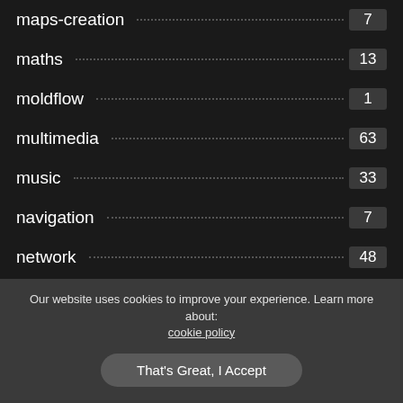maps-creation 7
maths 13
moldflow 1
multimedia 63
music 33
navigation 7
network 48
office-tools 118
operating-systems 124
Our website uses cookies to improve your experience. Learn more about: cookie policy
That's Great, I Accept